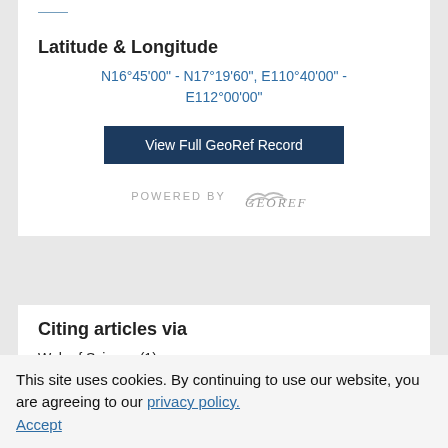N16°45'00" - N17°19'60", E110°40'00" - E112°00'00"
Latitude & Longitude
N16°45'00" - N17°19'60", E110°40'00" - E112°00'00"
View Full GeoRef Record
POWERED BY GeoRef
Citing articles via
Web of Science (1)
Google Scholar
This site uses cookies. By continuing to use our website, you are agreeing to our privacy policy. Accept